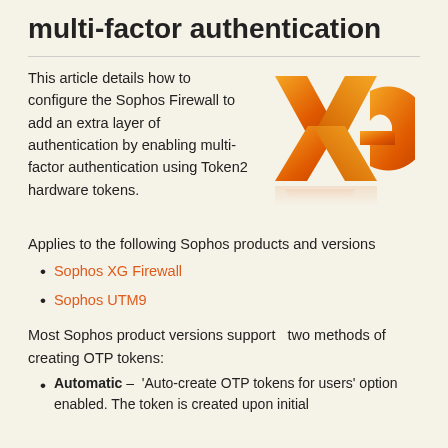multi-factor authentication
This article details how to configure the Sophos Firewall to add an extra layer of authentication by enabling multi-factor authentication using Token2 hardware tokens.
[Figure (logo): Sophos XG orange logo mark — stylized X and G letters in orange/gold gradient with reflection]
Applies to the following Sophos products and versions
Sophos XG Firewall
Sophos UTM9
Most Sophos product versions support  two methods of creating OTP tokens:
Automatic –  'Auto-create OTP tokens for users' option enabled. The token is created upon initial login. This option is the most commonly used.